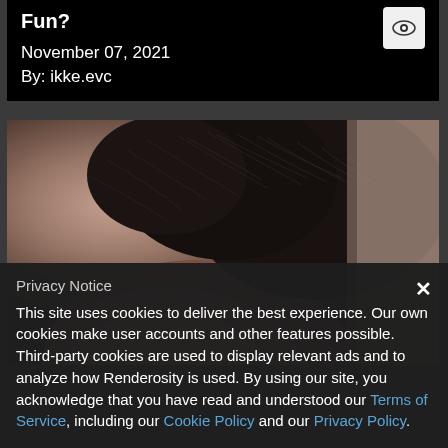Fun?
November 07, 2021
By: ikke.evc
[Figure (photo): Close-up photo of the back/side of a person's head with dark styled hair, sepia/brown tones, rendered 3D image]
Privacy Notice
This site uses cookies to deliver the best experience. Our own cookies make user accounts and other features possible. Third-party cookies are used to display relevant ads and to analyze how Renderosity is used. By using our site, you acknowledge that you have read and understood our Terms of Service, including our Cookie Policy and our Privacy Policy.